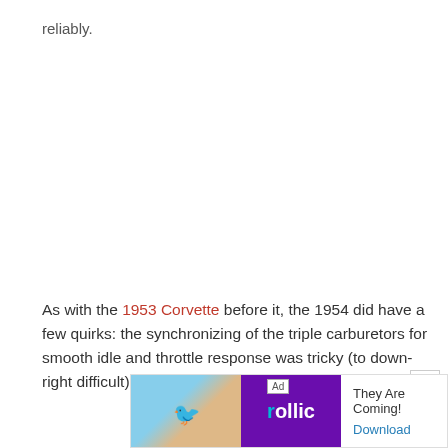reliably.
As with the 1953 Corvette before it, the 1954 did have a few quirks: the synchronizing of the triple carburetors for smooth idle and throttle response was tricky (to down-right difficult) to accomplish.
[Figure (screenshot): Advertisement banner for 'rollic' game app with 'They Are Coming!' tagline and Download link]